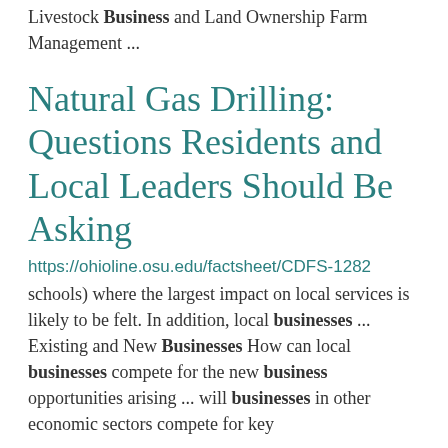Livestock Business and Land Ownership Farm Management ...
Natural Gas Drilling: Questions Residents and Local Leaders Should Be Asking
https://ohioline.osu.edu/factsheet/CDFS-1282
schools) where the largest impact on local services is likely to be felt. In addition, local businesses ... Existing and New Businesses How can local businesses compete for the new business opportunities arising ... will businesses in other economic sectors compete for key